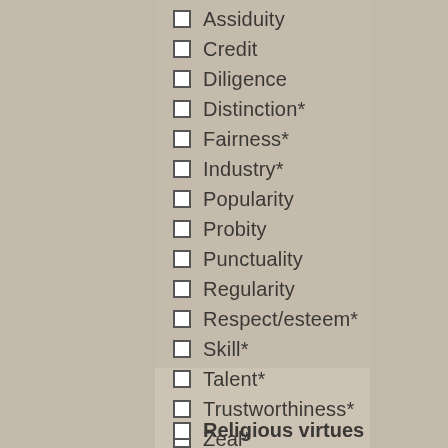☐ Assiduity
☐ Credit
☐ Diligence
☐ Distinction*
☐ Fairness*
☐ Industry*
☐ Popularity
☐ Probity
☐ Punctuality
☐ Regularity
☐ Respect/esteem*
☐ Skill*
☐ Talent*
☐ Trustworthiness*
☐ Zeal*
☐ Religious virtues